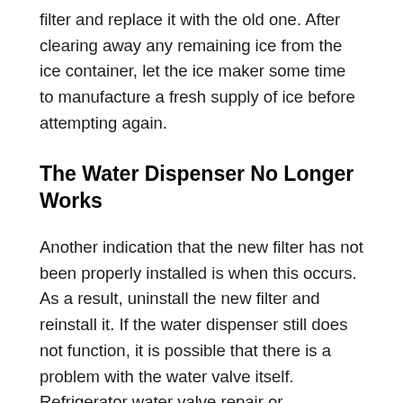filter and replace it with the old one. After clearing away any remaining ice from the ice container, let the ice maker some time to manufacture a fresh supply of ice before attempting again.
The Water Dispenser No Longer Works
Another indication that the new filter has not been properly installed is when this occurs. As a result, uninstall the new filter and reinstall it. If the water dispenser still does not function, it is possible that there is a problem with the water valve itself. Refrigerator water valve repair or replacement is a job best left to the professionals, so give us a call.